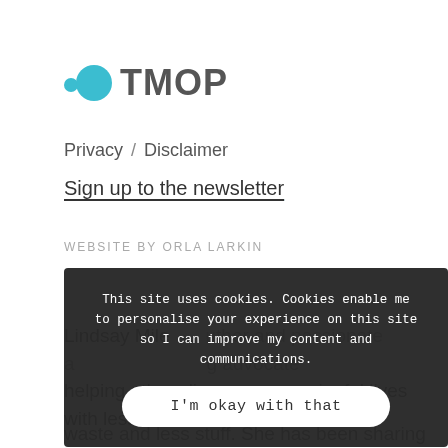[Figure (logo): TMOP logo with two teal circles (one small, one large) followed by the text TMOP in bold gray]
Privacy / Disclaimer
Sign up to the newsletter
WEBSITE BY ORLA LARKIN
This site uses cookies. Cookies enable me to personalise your experience on this site so I can improve my content and communications.
I'm okay with that
Lindsay Mile... uthor and passionate a... g advocate helping others live more meaningful lives with less waste and less stuff. She has been sharing ideas,